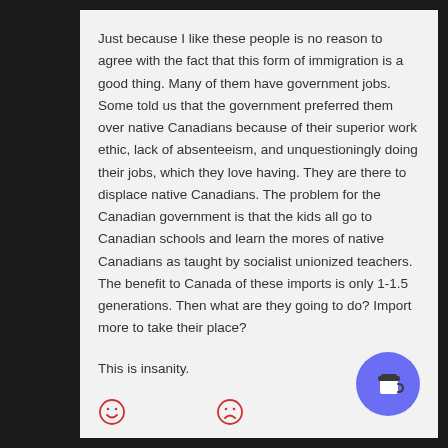Just because I like these people is no reason to agree with the fact that this form of immigration is a good thing. Many of them have government jobs. Some told us that the government preferred them over native Canadians because of their superior work ethic, lack of absenteeism, and unquestioningly doing their jobs, which they love having. They are there to displace native Canadians. The problem for the Canadian government is that the kids all go to Canadian schools and learn the mores of native Canadians as taught by socialist unionized teachers. The benefit to Canada of these imports is only 1-1.5 generations. Then what are they going to do? Import more to take their place?
This is insanity.
[Figure (other): Two emoji face icons (smiley and frowny) in red outline style, and a coffee cup button in blue circle bottom right]